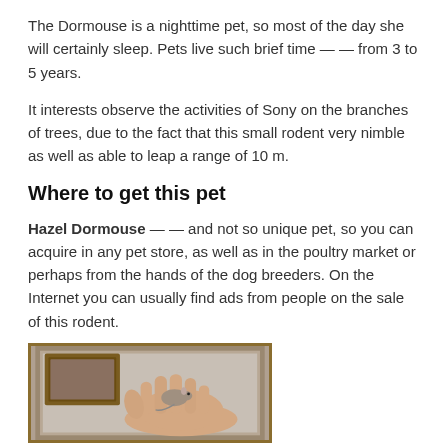The Dormouse is a nighttime pet, so most of the day she will certainly sleep. Pets live such brief time — — from 3 to 5 years.
It interests observe the activities of Sony on the branches of trees, due to the fact that this small rodent very nimble as well as able to leap a range of 10 m.
Where to get this pet
Hazel Dormouse — — and not so unique pet, so you can acquire in any pet store, as well as in the poultry market or perhaps from the hands of the dog breeders. On the Internet you can usually find ads from people on the sale of this rodent.
[Figure (photo): A hand holding a small dormouse rodent, with a picture frame visible in the background.]